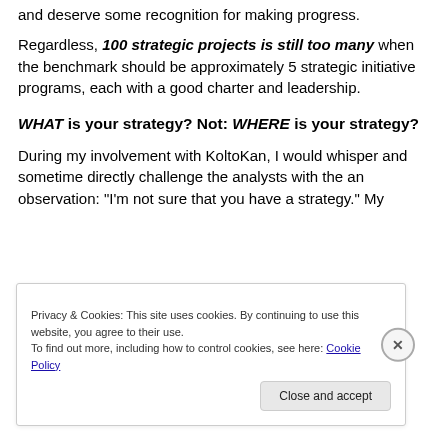and deserve some recognition for making progress.
Regardless, 100 strategic projects is still too many when the benchmark should be approximately 5 strategic initiative programs, each with a good charter and leadership.
WHAT is your strategy? Not: WHERE is your strategy?
During my involvement with KoltoKan, I would whisper and sometime directly challenge the analysts with the an observation: "I'm not sure that you have a strategy." My
Privacy & Cookies: This site uses cookies. By continuing to use this website, you agree to their use.
To find out more, including how to control cookies, see here: Cookie Policy